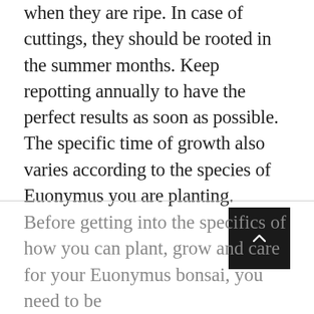when they are ripe. In case of cuttings, they should be rooted in the summer months. Keep repotting annually to have the perfect results as soon as possible. The specific time of growth also varies according to the species of Euonymus you are planting.
[Figure (other): Dark square button with a white upward-pointing chevron arrow, used as a scroll-to-top button]
Before getting into the specifics of how you can plant, grow and care for your Euonymus bonsai, you need to be